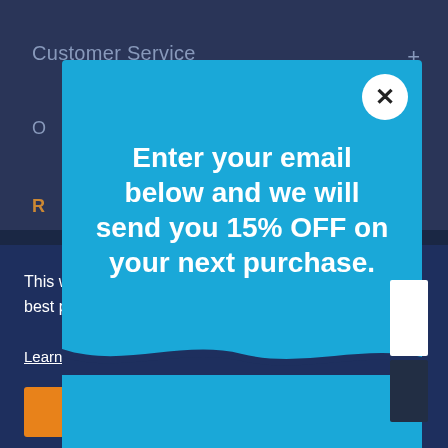Customer Service
[Figure (screenshot): Email signup modal popup with cyan/teal background showing promotional offer: 'Enter your email below and we will send you 15% OFF on your next purchase.' with a white circle close (X) button in top right corner]
Enter your email below and we will send you 15% OFF on your next purchase.
This website uses cookies to ensure you get the best possible visitor experience.
Learn More
ACCEPT